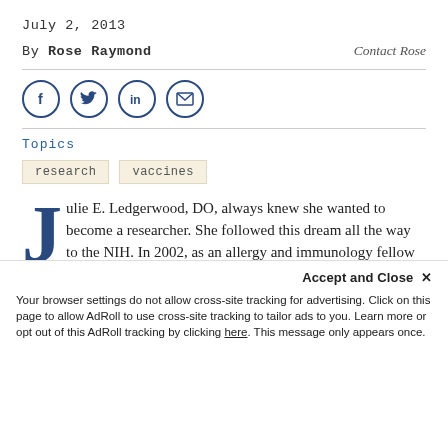July 2, 2013
By Rose Raymond   Contact Rose
[Figure (infographic): Social sharing icons: Facebook (f), Twitter (bird), LinkedIn (in), Email (envelope) — circular outlined buttons in dark blue]
Topics
research
vaccines
Julie E. Ledgerwood, DO, always knew she wanted to become a researcher. She followed this dream all the way to the NIH. In 2002, as an allergy and immunology fellow there, Dr. Ledgerwood and her colleagues vaccinated a large number of troops at the Walter Reed National Military Medical Center and fielded questions more. This experience masked the interest in clinical
Accept and Close ×
Your browser settings do not allow cross-site tracking for advertising. Click on this page to allow AdRoll to use cross-site tracking to tailor ads to you. Learn more or opt out of this AdRoll tracking by clicking here. This message only appears once.